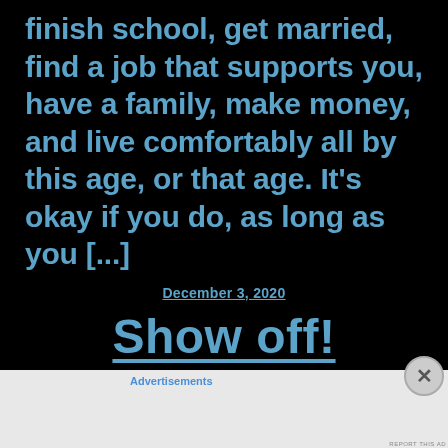finish school, get married, find a job that supports you, have a family, make money, and live comfortably all by this age, or that age. It's okay if you do, as long as you [...]
December 3, 2020
Show off!
Advertisements
[Figure (other): Advertisement banner: Turn your blog into a money-making online course. Arrow pointing right. Dark navy background with blue icon and arrow.]